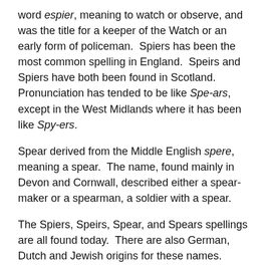word espier, meaning to watch or observe, and was the title for a keeper of the Watch or an early form of policeman.  Spiers has been the most common spelling in England.  Speirs and Spiers have both been found in Scotland. Pronunciation has tended to be like Spe-ars, except in the West Midlands where it has been like Spy-ers.
Spear derived from the Middle English spere, meaning a spear.  The name, found mainly in Devon and Cornwall, described either a spear-maker or a spearman, a soldier with a spear.
The Spiers, Speirs, Spear, and Spears spellings are all found today.  There are also German, Dutch and Jewish origins for these names.
Spears Surname Resources on The Internet